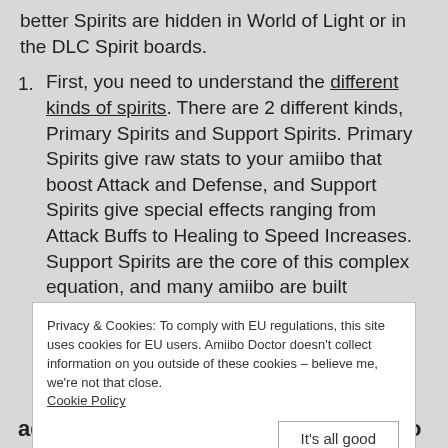better Spirits are hidden in World of Light or in the DLC Spirit boards.
First, you need to understand the different kinds of spirits. There are 2 different kinds, Primary Spirits and Support Spirits. Primary Spirits give raw stats to your amiibo that boost Attack and Defense, and Support Spirits give special effects ranging from Attack Buffs to Healing to Speed Increases. Support Spirits are the core of this complex equation, and many amiibo are built
Privacy & Cookies: To comply with EU regulations, this site uses cookies for EU users. Amiibo Doctor doesn't collect information on you outside of these cookies – believe me, we're not that close. Cookie Policy
adding Spirits directly changes amiibo